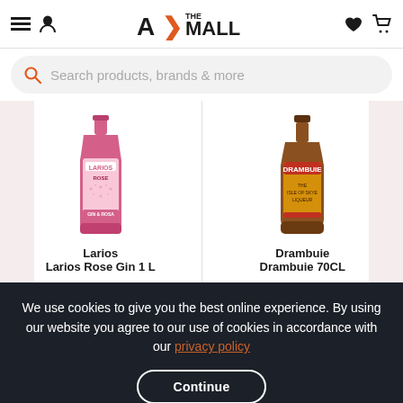A> THE MALL — navigation header with hamburger, user, logo, heart, cart icons
Search products, brands & more
[Figure (photo): Larios Rose Gin 1L bottle — pink decorated bottle with LARIOS ROSE label]
Larios
Larios Rose Gin 1 L
[Figure (photo): Drambuie 70CL bottle — dark amber bottle with DRAMBUIE label]
Drambuie
Drambuie 70CL
We use cookies to give you the best online experience. By using our website you agree to our use of cookies in accordance with our privacy policy
Continue